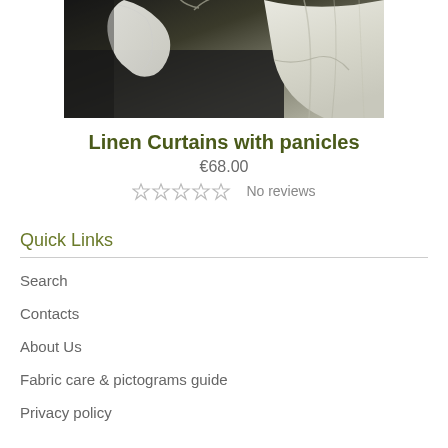[Figure (photo): Product photo of linen curtains with panicles, showing white/cream fabric with decorative elements against a dark background]
Linen Curtains with panicles
€68.00
☆☆☆☆☆ No reviews
Quick Links
Search
Contacts
About Us
Fabric care & pictograms guide
Privacy policy